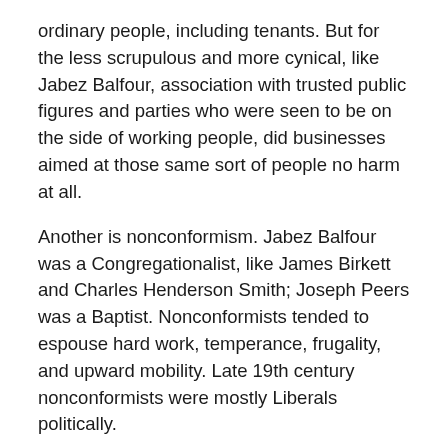ordinary people, including tenants. But for the less scrupulous and more cynical, like Jabez Balfour, association with trusted public figures and parties who were seen to be on the side of working people, did businesses aimed at those same sort of people no harm at all.
Another is nonconformism. Jabez Balfour was a Congregationalist, like James Birkett and Charles Henderson Smith; Joseph Peers was a Baptist. Nonconformists tended to espouse hard work, temperance, frugality, and upward mobility. Late 19th century nonconformists were mostly Liberals politically.
And lastly Burnley. Balfour was MP for Burnley from 1889 to 1893. Joseph Peers practised accountancy in Burnley and although he had moved to nearby St Annes in around